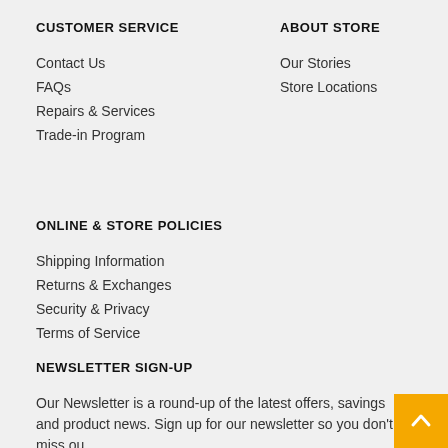CUSTOMER SERVICE
Contact Us
FAQs
Repairs & Services
Trade-in Program
ABOUT STORE
Our Stories
Store Locations
ONLINE & STORE POLICIES
Shipping Information
Returns & Exchanges
Security & Privacy
Terms of Service
NEWSLETTER SIGN-UP
Our Newsletter is a round-up of the latest offers, savings and product news. Sign up for our newsletter so you don't miss ou